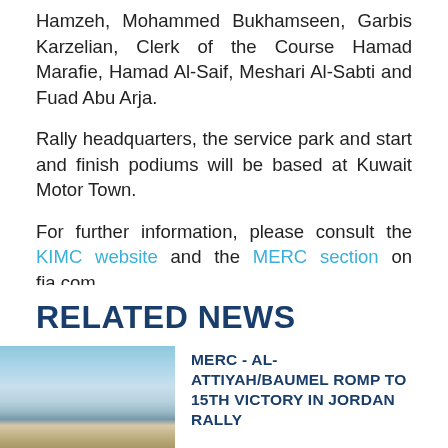Hamzeh, Mohammed Bukhamseen, Garbis Karzelian, Clerk of the Course Hamad Marafie, Hamad Al-Saif, Meshari Al-Sabti and Fuad Abu Arja.
Rally headquarters, the service park and start and finish podiums will be based at Kuwait Motor Town.
For further information, please consult the KIMC website and the MERC section on fia.com.
Photo caption: N. Al-Attiyah/M. Baumel in action in Qatar last month.
RELATED NEWS
[Figure (photo): Landscape photo showing a desert/arid terrain with blue sky, likely Jordan rally stage]
MERC - AL-ATTIYAH/BAUMEL ROMP TO 15TH VICTORY IN JORDAN RALLY